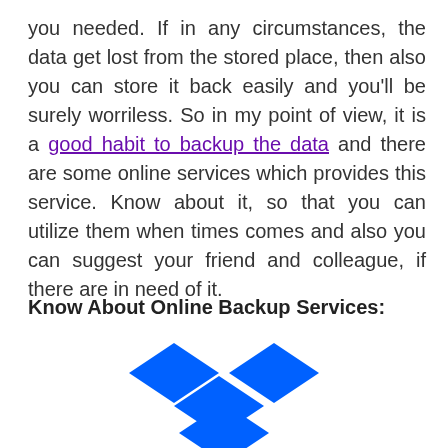you needed. If in any circumstances, the data get lost from the stored place, then also you can store it back easily and you'll be surely worriless. So in my point of view, it is a good habit to backup the data and there are some online services which provides this service. Know about it, so that you can utilize them when times comes and also you can suggest your friend and colleague, if there are in need of it.
Know About Online Backup Services:
[Figure (logo): Dropbox logo — four blue diamond/rhombus shapes arranged in a 2x2 grid pattern with white space between them, forming the classic Dropbox icon]